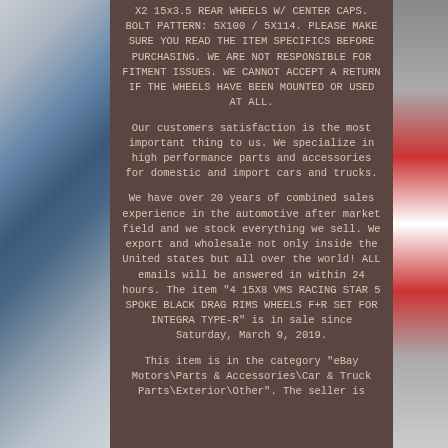X2 15x3.5 REAR WHEELS W/ CENTER CAPS. BOLT PATTERN: 5X100 / 5X114. PLEASE MAKE SURE YOU READ THE ITEM SPECIFICS BEFORE PURCHASING. WE ARE NOT RESPONSIBLE FOR FITMENT ISSUES. WE CANNOT ACCEPT A RETURN IF THE WHEELS HAVE BEEN MOUNTED OR USED AT ALL.
Our customers satisfaction is the most important thing to us. We specialize in high performance parts and accessories for domestic and import cars and trucks.
We have over 20 years of combined sales experience in the automotive after market field and we stock everything we sell. We export and wholesale not only inside the United states but all over the world! ALL emails will be answered in within 24 hours. The item "4 15X8 VMS RACING STAR 5 SPOKE BLACK DRAG RIMS WHEELS F+R SET FOR INTEGRA TYPE-R" is in sale since Saturday, March 9, 2019.
This item is in the category "eBay Motors\Parts & Accessories\Car & Truck Parts\Exterior\Other". The seller is